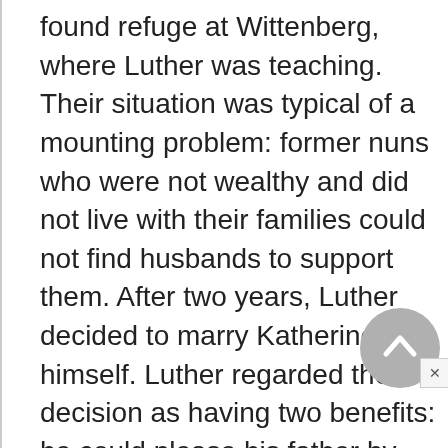nuns could not return home. They found refuge at Wittenberg, where Luther was teaching. Their situation was typical of a mounting problem: former nuns who were not wealthy and did not live with their families could not find husbands to support them. After two years, Luther decided to marry Katherine himself. Luther regarded the decision as having two benefits: he could please his father by taking a wife and upset the pope by getting married while he was still a priest.